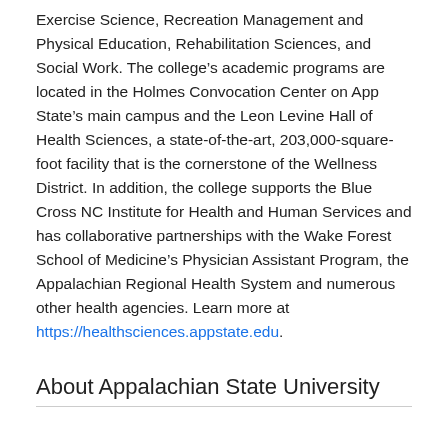Exercise Science, Recreation Management and Physical Education, Rehabilitation Sciences, and Social Work. The college's academic programs are located in the Holmes Convocation Center on App State's main campus and the Leon Levine Hall of Health Sciences, a state-of-the-art, 203,000-square-foot facility that is the cornerstone of the Wellness District. In addition, the college supports the Blue Cross NC Institute for Health and Human Services and has collaborative partnerships with the Wake Forest School of Medicine's Physician Assistant Program, the Appalachian Regional Health System and numerous other health agencies. Learn more at https://healthsciences.appstate.edu.
About Appalachian State University